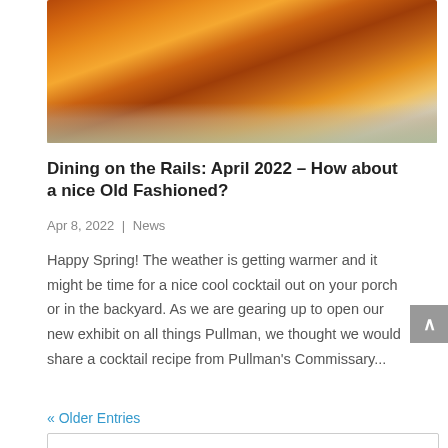[Figure (photo): Close-up photo of an amber-colored cocktail (Old Fashioned) in a glass with ice, sitting on a woven textile surface.]
Dining on the Rails: April 2022 – How about a nice Old Fashioned?
Apr 8, 2022 | News
Happy Spring! The weather is getting warmer and it might be time for a nice cool cocktail out on your porch or in the backyard. As we are gearing up to open our new exhibit on all things Pullman, we thought we would share a cocktail recipe from Pullman's Commissary...
« Older Entries